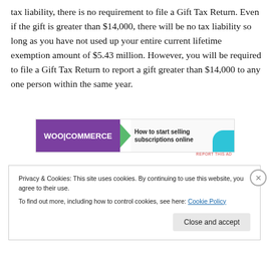tax liability, there is no requirement to file a Gift Tax Return. Even if the gift is greater than $14,000, there will be no tax liability so long as you have not used up your entire current lifetime exemption amount of $5.43 million. However, you will be required to file a Gift Tax Return to report a gift greater than $14,000 to any one person within the same year.
[Figure (other): WooCommerce advertisement banner: purple background with WooCommerce logo and triangle arrow, text 'How to start selling subscriptions online' with teal circle accent, 'REPORT THIS AD' link]
Privacy & Cookies: This site uses cookies. By continuing to use this website, you agree to their use.
To find out more, including how to control cookies, see here: Cookie Policy
Close and accept